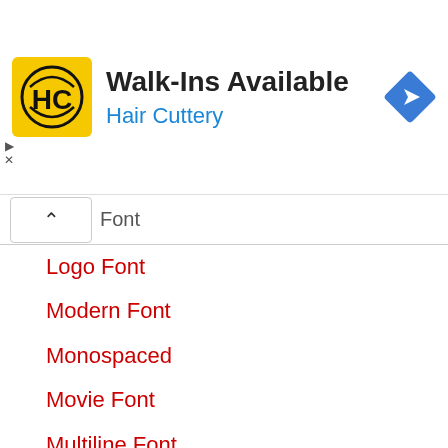[Figure (infographic): Hair Cuttery advertisement banner with logo (HC in circle on yellow background), title 'Walk-Ins Available', subtitle 'Hair Cuttery', and a blue diamond navigation icon on the right.]
Font
Logo Font
Modern Font
Monospaced
Movie Font
Multiline Font
Old Style Font
OpenType Font
Ramadhan Fonts
Regular Font
Retro
Romantic Font